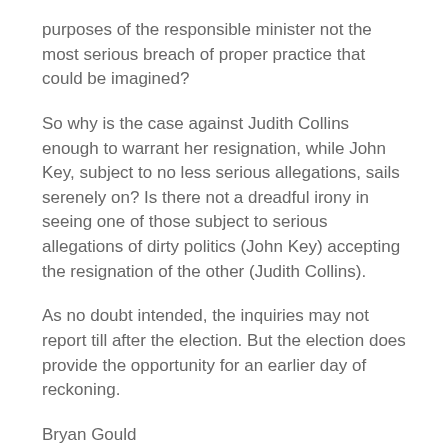purposes of the responsible minister not the most serious breach of proper practice that could be imagined?
So why is the case against Judith Collins enough to warrant her resignation, while John Key, subject to no less serious allegations, sails serenely on? Is there not a dreadful irony in seeing one of those subject to serious allegations of dirty politics (John Key) accepting the resignation of the other (Judith Collins).
As no doubt intended, the inquiries may not report till after the election. But the election does provide the opportunity for an earlier day of reckoning.
Bryan Gould
30 August 2014